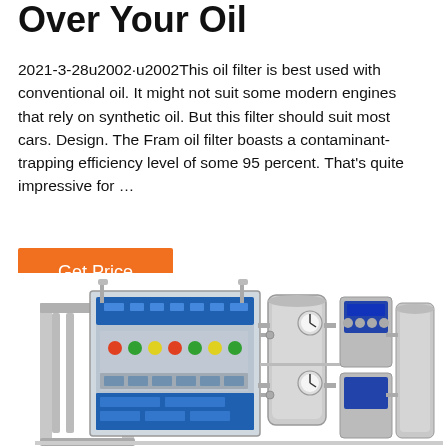Over Your Oil
2021-3-28u2002·u2002This oil filter is best used with conventional oil. It might not suit some modern engines that rely on synthetic oil. But this filter should suit most cars. Design. The Fram oil filter boasts a contaminant-trapping efficiency level of some 95 percent. That's quite impressive for …
Get Price
[Figure (photo): Industrial oil filtration / water purification machine with stainless steel tanks, pipes, gauges and control panels, photographed on white background]